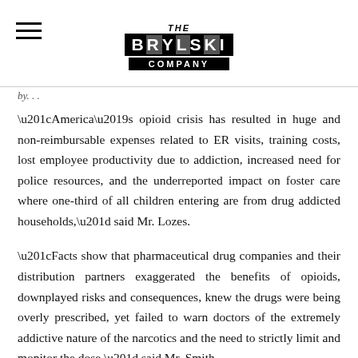THE BRYLSKI COMPANY
“America’s opioid crisis has resulted in huge and non-reimbursable expenses related to ER visits, training costs, lost employee productivity due to addiction, increased need for police resources, and the underreported impact on foster care where one-third of all children entering are from drug addicted households,” said Mr. Lozes.
“Facts show that pharmaceutical drug companies and their distribution partners exaggerated the benefits of opioids, downplayed risks and consequences, knew the drugs were being overly prescribed, yet failed to warn doctors of the extremely addictive nature of the narcotics and the need to strictly limit and monitor the dose,” said Mr. Smith.